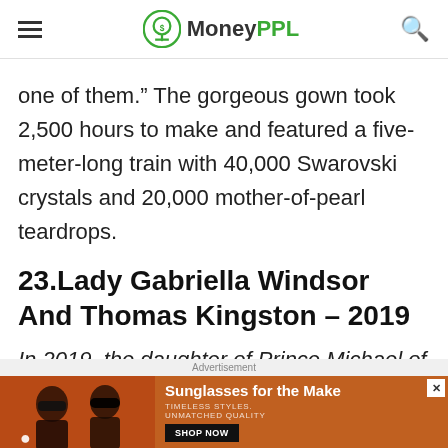MoneyPPL
one of them.” The gorgeous gown took 2,500 hours to make and featured a five-meter-long train with 40,000 Swarovski crystals and 20,000 mother-of-pearl teardrops.
23.Lady Gabriella Windsor And Thomas Kingston – 2019
In 2019, the daughter of Prince Michael of
[Figure (photo): Advertisement banner showing two women wearing sunglasses with text 'Sunglasses for the Make, Timeless Styles, Unmatched Quality' and a Shop Now button]